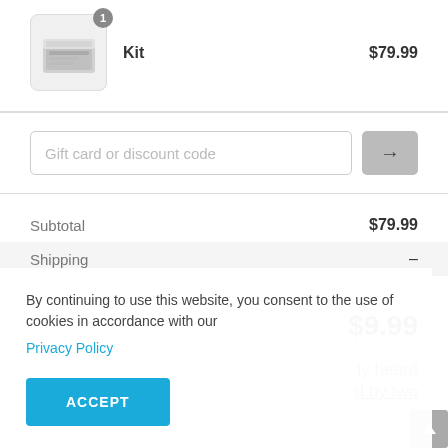[Figure (photo): Cart item thumbnail showing a kit product in a box, with badge showing quantity 1]
Kit
$79.99
Gift card or discount code
Subtotal $79.99
Shipping –
$79.99
By continuing to use this website, you consent to the use of cookies in accordance with our
Privacy Policy
ACCEPT
ly heard
d by two